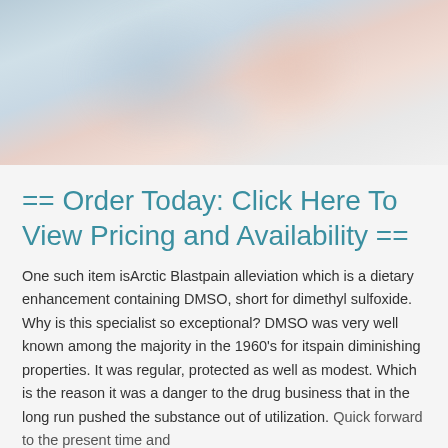[Figure (photo): Blurred photo of people, likely showing a healthcare or lifestyle scene with blurred figures in blue and warm tones]
== Order Today: Click Here To View Pricing and Availability ==
One such item isArctic Blastpain alleviation which is a dietary enhancement containing DMSO, short for dimethyl sulfoxide. Why is this specialist so exceptional? DMSO was very well known among the majority in the 1960's for itspain diminishing properties. It was regular, protected as well as modest. Which is the reason it was a danger to the drug business that in the long run pushed the substance out of utilization. Quick forward to the present time and